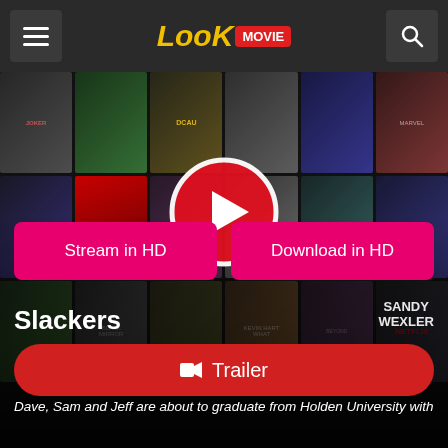[Figure (screenshot): LookMovie website navigation bar with hamburger menu icon on left, LookMovie logo in center, and search icon on right]
[Figure (screenshot): Hero background showing a grid of Netflix movie and show poster thumbnails in dark layout with play button overlay in center]
Stream in HD
Download in HD
Slackers
Sandy Wexler
Trailer
Dave, Sam and Jeff are about to graduate from Holden University with